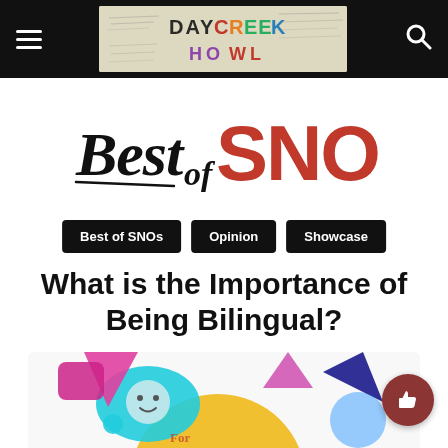Day Creek Howl — Navigation bar with hamburger menu, banner image, and search icon
[Figure (logo): Best of SNO logo — cursive 'Best of' in black with 'SNO' in bold red]
Best of SNOs | Opinion | Showcase
What is the Importance of Being Bilingual?
[Figure (illustration): Colorful illustration with language/bilingual themed graphics including speech bubbles and geometric shapes in pink, cyan, blue, and yellow]